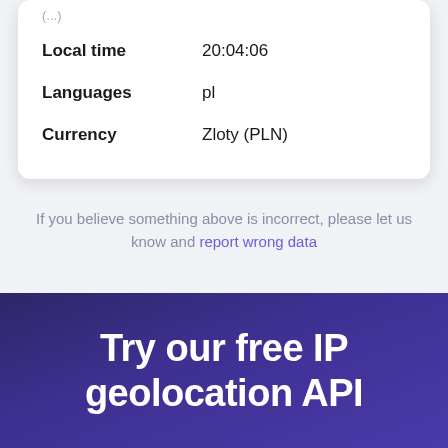| Field | Value |
| --- | --- |
| Local time | 20:04:06 |
| Languages | pl |
| Currency | Zloty (PLN) |
If you believe something above is incorrect, please let us know and report wrong data
Try our free IP geolocation API